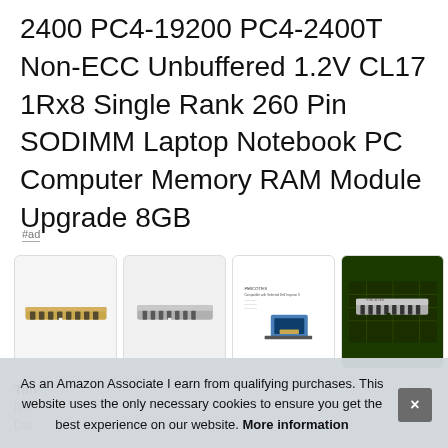2400 PC4-19200 PC4-2400T Non-ECC Unbuffered 1.2V CL17 1Rx8 Single Rank 260 Pin SODIMM Laptop Notebook PC Computer Memory RAM Module Upgrade 8GB
#ad
[Figure (photo): Four thumbnail images of RAM memory sticks and a laptop compatibility chart]
Tim
Not
Dat
As an Amazon Associate I earn from qualifying purchases. This website uses the only necessary cookies to ensure you get the best experience on our website. More information